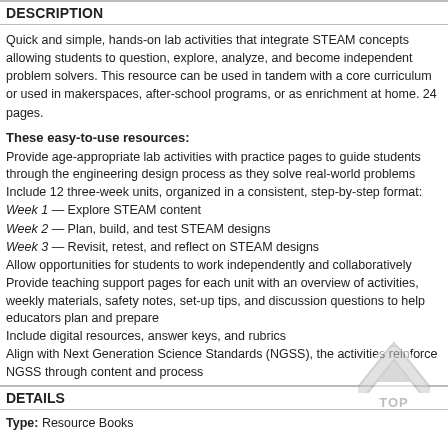DESCRIPTION
Quick and simple, hands-on lab activities that integrate STEAM concepts allowing students to question, explore, analyze, and become independent problem solvers. This resource can be used in tandem with a core curriculum or used in makerspaces, after-school programs, or as enrichment at home. 24 pages.
These easy-to-use resources:
Provide age-appropriate lab activities with practice pages to guide students through the engineering design process as they solve real-world problems
Include 12 three-week units, organized in a consistent, step-by-step format:
Week 1 — Explore STEAM content
Week 2 — Plan, build, and test STEAM designs
Week 3 — Revisit, retest, and reflect on STEAM designs
Allow opportunities for students to work independently and collaboratively
Provide teaching support pages for each unit with an overview of activities, weekly materials, safety notes, set-up tips, and discussion questions to help educators plan and prepare
Include digital resources, answer keys, and rubrics
Align with Next Generation Science Standards (NGSS), the activities reinforce NGSS through content and process
DETAILS
Type: Resource Books